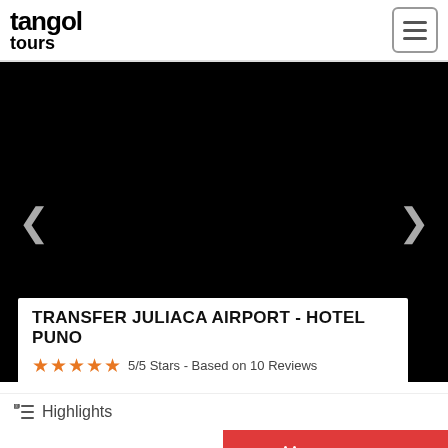tangol tours
[Figure (photo): Black hero image with left and right navigation arrows for a tour image carousel]
TRANSFER JULIACA AIRPORT - HOTEL PUNO
5/5 Stars - Based on 10 Reviews
Highlights
BOOK